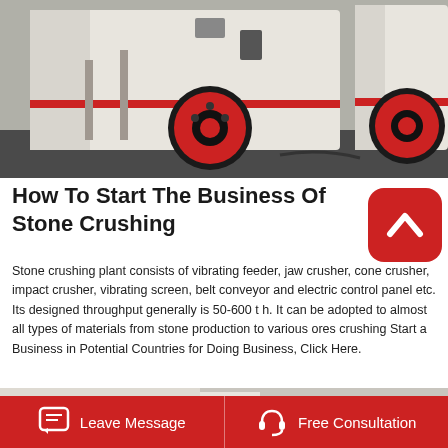[Figure (photo): Two white industrial stone crushing machines with red and black wheels/pulleys, photographed in a factory/warehouse setting]
How To Start The Business Of Stone Crushing
[Figure (logo): Red rounded square badge with a white chevron/caret-up icon]
Stone crushing plant consists of vibrating feeder, jaw crusher, cone crusher, impact crusher, vibrating screen, belt conveyor and electric control panel etc. Its designed throughput generally is 50-600 t h. It can be adopted to almost all types of materials from stone production to various ores crushing Start a Business in Potential Countries for Doing Business, Click Here.
[Figure (photo): Partial view of white industrial crushing machine with red accent, bottom strip]
[Figure (other): Red footer bar with Leave Message button (chat icon) on left and Free Consultation button (headset icon) on right]